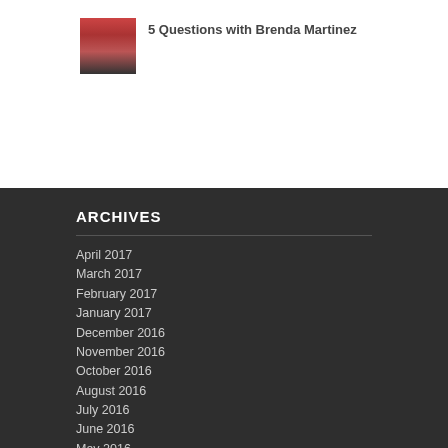[Figure (photo): Thumbnail photo of runners on a track, with red track surface visible]
5 Questions with Brenda Martinez
ARCHIVES
April 2017
March 2017
February 2017
January 2017
December 2016
November 2016
October 2016
August 2016
July 2016
June 2016
May 2016
April 2016